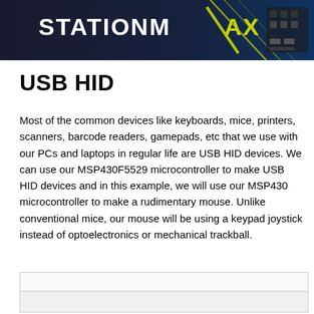[Figure (photo): Banner image showing 'STATIONMAX' branding with gaming/tech hardware background featuring yellow accents and circuit board elements]
USB HID
Most of the common devices like keyboards, mice, printers, scanners, barcode readers, gamepads, etc that we use with our PCs and laptops in regular life are USB HID devices. We can use our MSP430F5529 microcontroller to make USB HID devices and in this example, we will use our MSP430 microcontroller to make a rudimentary mouse. Unlike conventional mice, our mouse will be using a keypad joystick instead of optoelectronics or mechanical trackball.